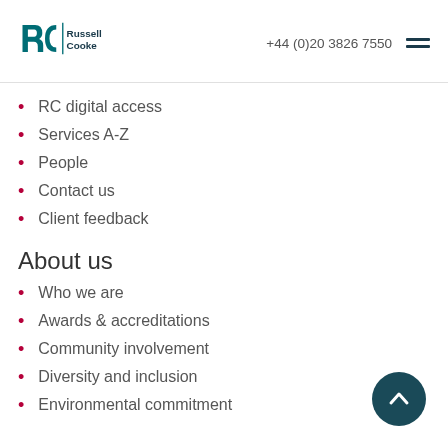Russell Cooke | +44 (0)20 3826 7550
RC digital access
Services A-Z
People
Contact us
Client feedback
About us
Who we are
Awards & accreditations
Community involvement
Diversity and inclusion
Environmental commitment